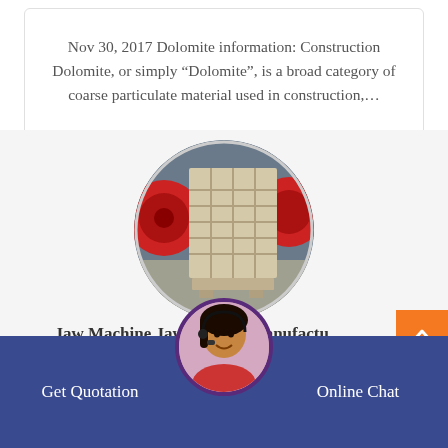Nov 30, 2017 Dolomite information: Construction Dolomite, or simply “Dolomite”, is a broad category of coarse particulate material used in construction,...
[Figure (photo): Circular cropped photo of an industrial jaw crusher machine, beige/grey colored with grid-like front face, large red flywheel visible on left, industrial building in background.]
Jaw Machine Jaw crusher Manufactu...
[Figure (photo): Circular photo of a female customer service agent wearing a headset, smiling, overlapping the bottom navigation bar.]
Get Quotation
Online Chat